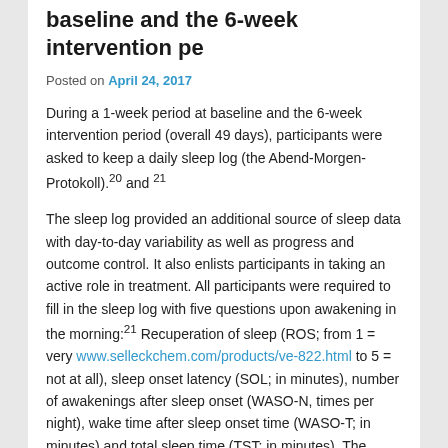baseline and the 6-week intervention pe
Posted on April 24, 2017
During a 1-week period at baseline and the 6-week intervention period (overall 49 days), participants were asked to keep a daily sleep log (the Abend-Morgen-Protokoll).20 and 21
The sleep log provided an additional source of sleep data with day-to-day variability as well as progress and outcome control. It also enlists participants in taking an active role in treatment. All participants were required to fill in the sleep log with five questions upon awakening in the morning:21 Recuperation of sleep (ROS; from 1 = very www.selleckchem.com/products/ve-822.html to 5 = not at all), sleep onset latency (SOL; in minutes), number of awakenings after sleep onset (WASO-N, times per night), wake time after sleep onset time (WASO-T; in minutes) and total sleep time (TST; in minutes). The